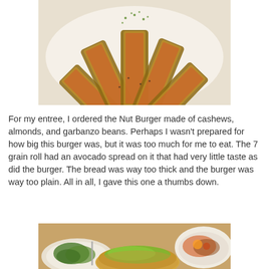[Figure (photo): A white plate with several pieces of toasted bread topped with tomato, herbs, and seasoning arranged in a fan shape]
For my entree, I ordered the Nut Burger made of cashews, almonds, and garbanzo beans. Perhaps I wasn't prepared for how big this burger was, but it was too much for me to eat. The 7 grain roll had an avocado spread on it that had very little taste as did the burger. The bread was way too thick and the burger was way too plain. All in all, I gave this one a thumbs down.
[Figure (photo): A table with a burger bun topped with green avocado spread, a side of sauteed greens, and a bowl of mixed vegetables]